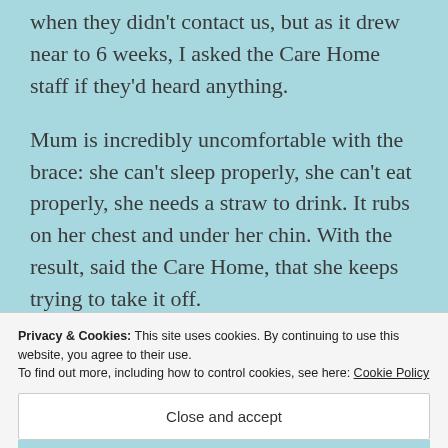when they didn't contact us, but as it drew near to 6 weeks, I asked the Care Home staff if they'd heard anything.
Mum is incredibly uncomfortable with the brace: she can't sleep properly, she can't eat properly, she needs a straw to drink. It rubs on her chest and under her chin. With the result, said the Care Home, that she keeps trying to take it off.
Privacy & Cookies: This site uses cookies. By continuing to use this website, you agree to their use.
To find out more, including how to control cookies, see here: Cookie Policy
Close and accept